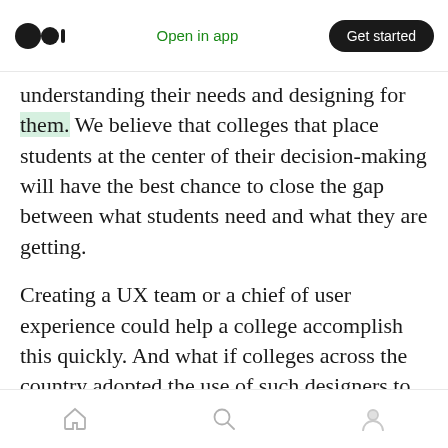Medium app header with logo, Open in app, Get started
understanding their needs and designing for them. We believe that colleges that place students at the center of their decision-making will have the best chance to close the gap between what students need and what they are getting.
Creating a UX team or a chief of user experience could help a college accomplish this quickly. And what if colleges across the country adopted the use of such designers to address some of the longest-term challenges in our higher-education system? Together we might be able to create
Bottom navigation bar with home, search, and profile icons